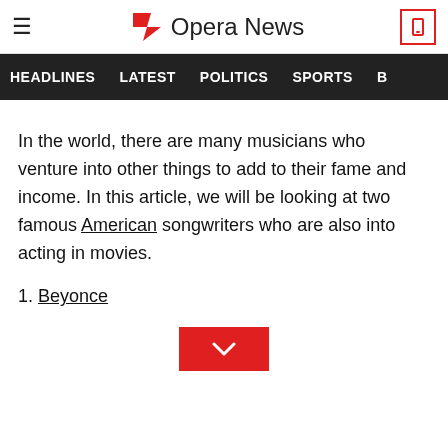Opera News
HEADLINES   LATEST   POLITICS   SPORTS   B
In the world, there are many musicians who venture into other things to add to their fame and income. In this article, we will be looking at two famous American songwriters who are also into acting in movies.
1. Beyonce